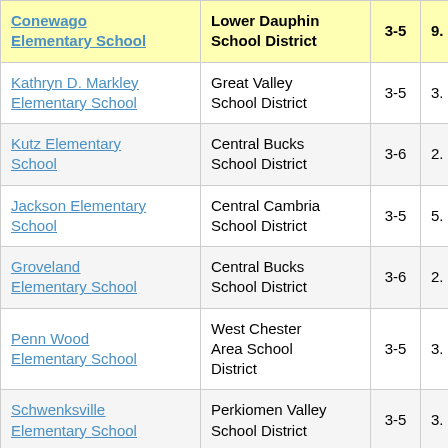| School | District | Grades |  |
| --- | --- | --- | --- |
| Conewago Elementary School | Lower Dauphin School District | 3-5 | 9. |
| Kathryn D. Markley Elementary School | Great Valley School District | 3-5 | 3. |
| Kutz Elementary School | Central Bucks School District | 3-6 | 2. |
| Jackson Elementary School | Central Cambria School District | 3-5 | 5. |
| Groveland Elementary School | Central Bucks School District | 3-6 | 2. |
| Penn Wood Elementary School | West Chester Area School District | 3-5 | 3. |
| Schwenksville Elementary School | Perkiomen Valley School District | 3-5 | 3. |
| Kunkel Elementary School | Middletown Area School District | 3-5 | 3. |
| Mercer Area | Mercer Area |  |  |